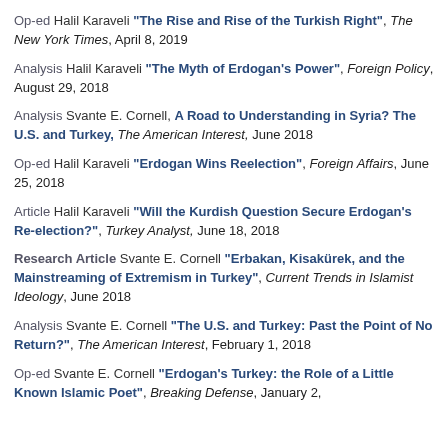Op-ed Halil Karaveli "The Rise and Rise of the Turkish Right", The New York Times, April 8, 2019
Analysis Halil Karaveli "The Myth of Erdogan's Power", Foreign Policy, August 29, 2018
Analysis Svante E. Cornell, A Road to Understanding in Syria? The U.S. and Turkey, The American Interest, June 2018
Op-ed Halil Karaveli "Erdogan Wins Reelection", Foreign Affairs, June 25, 2018
Article Halil Karaveli "Will the Kurdish Question Secure Erdogan's Re-election?", Turkey Analyst, June 18, 2018
Research Article Svante E. Cornell "Erbakan, Kisakürek, and the Mainstreaming of Extremism in Turkey", Current Trends in Islamist Ideology, June 2018
Analysis Svante E. Cornell "The U.S. and Turkey: Past the Point of No Return?", The American Interest, February 1, 2018
Op-ed Svante E. Cornell "Erdogan's Turkey: the Role of a Little Known Islamic Poet", Breaking Defense, January 2,